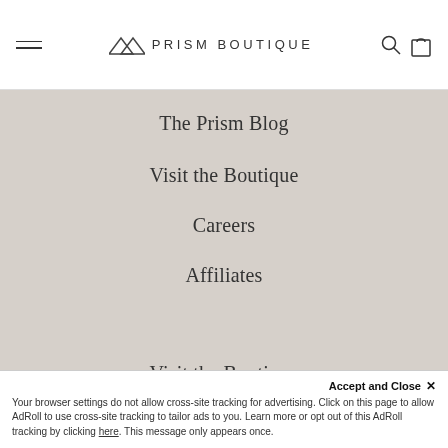PRISM BOUTIQUE
The Prism Blog
Visit the Boutique
Careers
Affiliates
Prism Discount Codes
Visit the Boutique
406 Termino Ave. Long Beach, CA
(562) 433-4341
Accept and Close ✕
Your browser settings do not allow cross-site tracking for advertising. Click on this page to allow AdRoll to use cross-site tracking to tailor ads to you. Learn more or opt out of this AdRoll tracking by clicking here. This message only appears once.